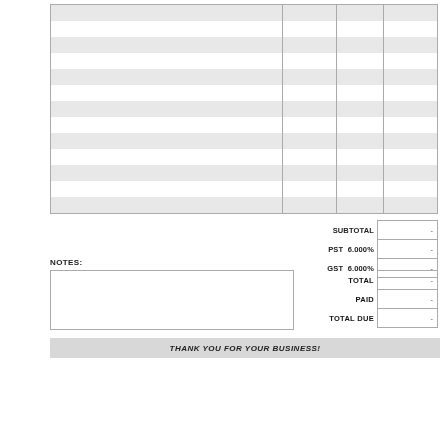|  |  |  |  |
| --- | --- | --- | --- |
|  |  |  |  |
|  |  |  |  |
|  |  |  |  |
|  |  |  |  |
|  |  |  |  |
|  |  |  |  |
|  |  |  |  |
|  |  |  |  |
|  |  |  |  |
|  |  |  |  |
|  |  |  |  |
|  |  |  |  |
| SUBTOTAL |  |
| --- | --- |
| SUBTOTAL | - |
| PST  6.000% | - |
| GST  6.000% | - |
NOTES:
| TOTAL |  |
| --- | --- |
| TOTAL | - |
| PAID | - |
| TOTAL DUE | - |
THANK YOU FOR YOUR BUSINESS!